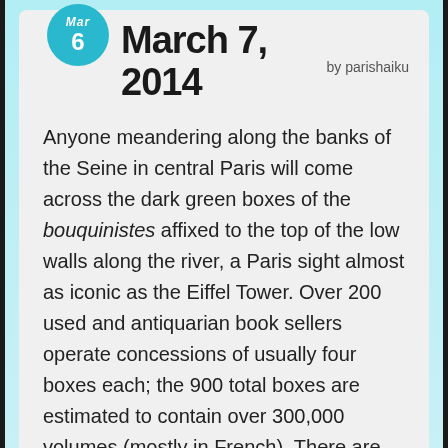March 7, 2014 by parishaiku
Anyone meandering along the banks of the Seine in central Paris will come across the dark green boxes of the bouquinistes affixed to the top of the low walls along the river, a Paris sight almost as iconic as the Eiffel Tower. Over 200 used and antiquarian book sellers operate concessions of usually four boxes each; the 900 total boxes are estimated to contain over 300,000 volumes (mostly in French). There are also vintage prints, magazines and journals; rare engravings, collectible stamps and old postcards.
Spanning stretches along both the Right and Left Banks of the river, you can enjoy a total of about 3km of browsing–but please ask